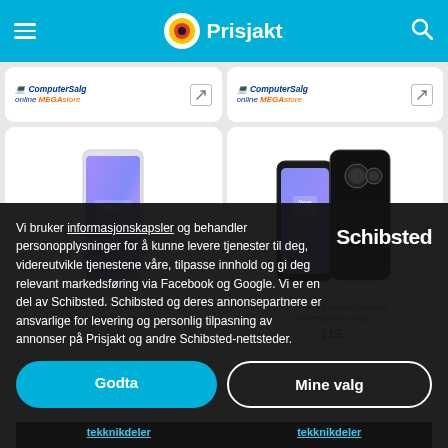Prisjakt
[Figure (screenshot): Two product cards showing ComputerSalg online MEGAstore logo with external link icons]
[Figure (screenshot): Two product cards: OnePlus 9 Pro tempered glass screen protector and OnePlus 9 Pro black case with phone images]
Vi bruker informasjonskapsler og behandler personopplysninger for å kunne levere tjenester til deg, videreutvikle tjenestene våre, tilpasse innhold og gi deg relevant markedsføring via Facebook og Google. Vi er en del av Schibsted. Schibsted og deres annonsepartnere er ansvarlige for levering og personlig tilpasning av annonser på Prisjakt og andre Schibsted-nettsteder.
[Figure (logo): Schibsted logo in white text]
62,-
119,-
tekknikdeler
tekknikdeler
Godta
Mine valg